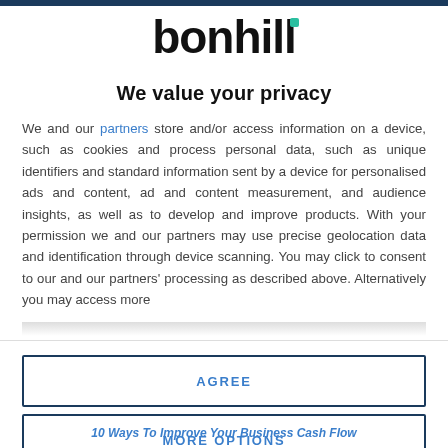[Figure (logo): Bonhill logo with teal accent dot above the 'l', bold black text]
We value your privacy
We and our partners store and/or access information on a device, such as cookies and process personal data, such as unique identifiers and standard information sent by a device for personalised ads and content, ad and content measurement, and audience insights, as well as to develop and improve products. With your permission we and our partners may use precise geolocation data and identification through device scanning. You may click to consent to our and our partners' processing as described above. Alternatively you may access more detailed information...
AGREE
MORE OPTIONS
10 Ways To Improve Your Business Cash Flow